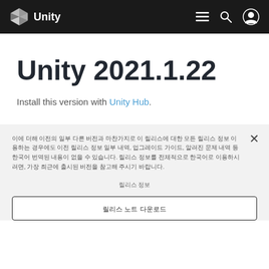Unity
Unity 2021.1.22
Install this version with Unity Hub.
이 버전의 모든 릴리스 정보를 이용할 수 없습니다. 해당 릴리스에서 사용 가능한 정보를 표시하고 있습니다. 전체 릴리스 정보를 위해서는 최신 버전을 사용하십시오. 전체 정보 또는 더 오래된 릴리스의 경우, 릴리스 노트 아카이브를 참조하십시오.
릴리스 정보
릴리스 노트 다운로드